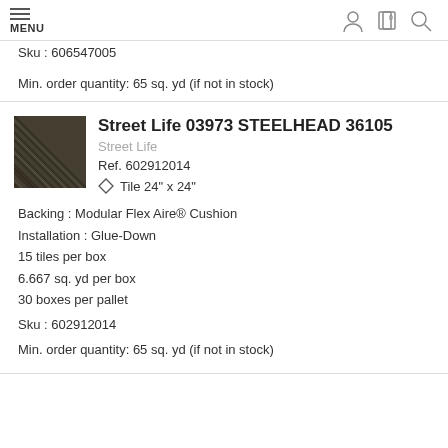MENU
Sku : 606547005
Min. order quantity: 65 sq. yd (if not in stock)
Street Life 03973 STEELHEAD 36105
Street Life
Ref. 602912014
Tile 24" x 24"
Backing : Modular Flex Aire® Cushion
Installation : Glue-Down
15 tiles per box
6.667 sq. yd per box
30 boxes per pallet
Sku : 602912014
Min. order quantity: 65 sq. yd (if not in stock)